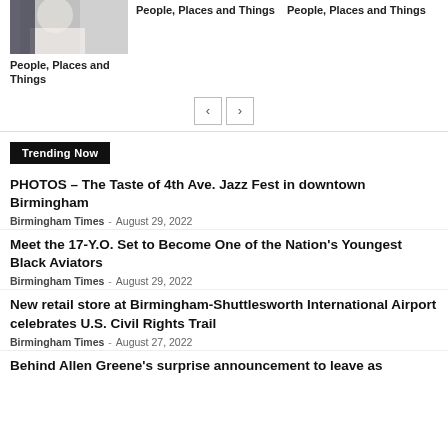[Figure (photo): Partial photo of a person in white clothing, cropped at top]
People, Places and Things
People, Places and Things
People, Places and Things
[Figure (other): Navigation previous and next arrow buttons]
Trending Now
PHOTOS – The Taste of 4th Ave. Jazz Fest in downtown Birmingham
Birmingham Times - August 29, 2022
Meet the 17-Y.O. Set to Become One of the Nation's Youngest Black Aviators
Birmingham Times - August 29, 2022
New retail store at Birmingham-Shuttlesworth International Airport celebrates U.S. Civil Rights Trail
Birmingham Times - August 27, 2022
Behind Allen Greene's surprise announcement to leave as